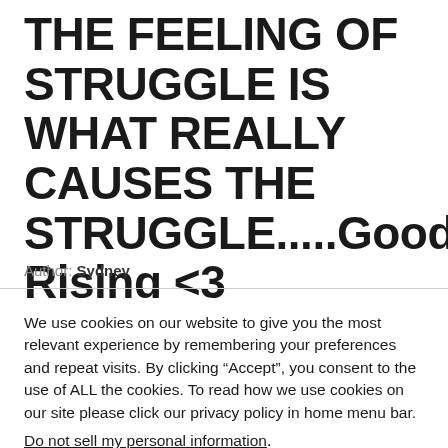THE FEELING OF STRUGGLE IS WHAT REALLY CAUSES THE STRUGGLE.....Good Rising <3
Author: Sydney
We use cookies on our website to give you the most relevant experience by remembering your preferences and repeat visits. By clicking “Accept”, you consent to the use of ALL the cookies. To read how we use cookies on our site please click our privacy policy in home menu bar. Do not sell my personal information.